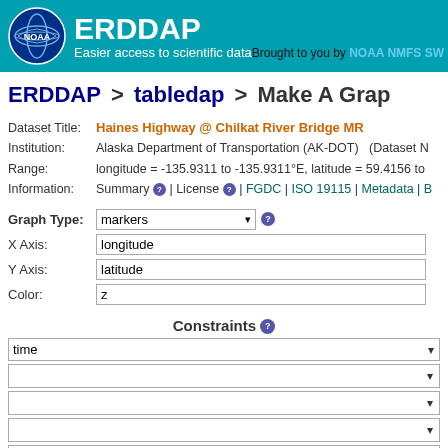ERDDAP — Easier access to scientific data — Brought to you by NOAA NMFS SW
ERDDAP > tabledap > Make A Graph
Dataset Title: Haines Highway @ Chilkat River Bridge MR...
Institution: Alaska Department of Transportation (AK-DOT) (Dataset N...
Range: longitude = -135.9311 to -135.9311°E, latitude = 59.4156 to...
Information: Summary ? | License ? | FGDC | ISO 19115 | Metadata | B...
Graph Type: markers
X Axis: longitude
Y Axis: latitude
Color: z
Constraints ?
time (dropdown)
empty constraint rows